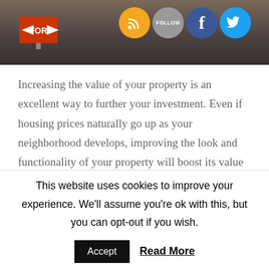[Figure (photo): A street scene with a FOR SALE sign and social media icons (RSS, Follow, Facebook, Twitter) overlaid on a dark background photo]
Increasing the value of your property is an excellent way to further your investment. Even if housing prices naturally go up as your neighborhood develops, improving the look and functionality of your property will boost its value even more. Whether you want a better-looking home, or simply want a boost in value, this read from Doorsteps will share a few simple and straightforward tips to get
This website uses cookies to improve your experience. We'll assume you're ok with this, but you can opt-out if you wish.